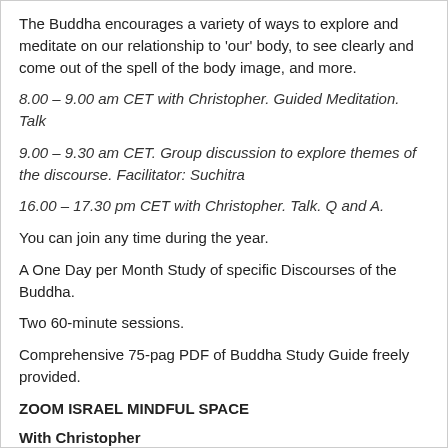The Buddha encourages a variety of ways to explore and meditate on our relationship to 'our' body, to see clearly and come out of the spell of the body image, and more.
8.00 – 9.00 am CET with Christopher. Guided Meditation. Talk
9.00 – 9.30 am CET. Group discussion to explore themes of the discourse. Facilitator: Suchitra
16.00 – 17.30 pm CET with Christopher. Talk. Q and A.
You can join any time during the year.
A One Day per Month Study of specific Discourses of the Buddha.
Two 60-minute sessions.
Comprehensive 75-pag PDF of Buddha Study Guide freely provided.
ZOOM ISRAEL MINDFUL SPACE
With Christopher
Saturday 30 July 2022 Right Mindfulness